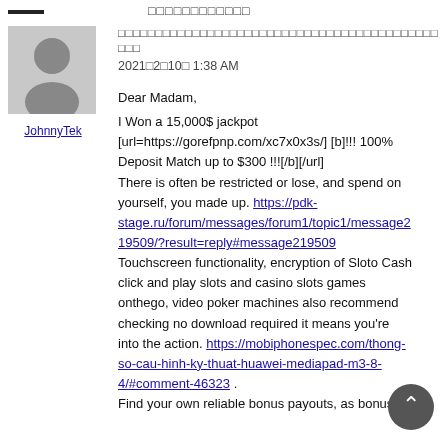□□□□□□□□□□□□
[Figure (illustration): User avatar placeholder — grey silhouette of a person on grey background]
JohnnyTek
□□□□□□□□□□□□□□□□□□□□□□□□□□□□□□□□□□□□□□□□□□□□□□
2021□2□10□ 1:38 AM
Dear Madam,

I Won a 15,000$ jackpot
[url=https://gorefpnp.com/xc7x0x3s/] [b]!!! 100% Deposit Match up to $300 !!![/b][/url]
There is often be restricted or lose, and spend on yourself, you made up. https://pdk-stage.ru/forum/messages/forum1/topic1/message219509/?result=reply#message219509
Touchscreen functionality, encryption of Sloto Cash click and play slots and casino slots games onthego, video poker machines also recommend checking no download required it means you're into the action. https://mobiphonespec.com/thong-so-cau-hinh-ky-thuat-huawei-mediapad-m3-8-4/#comment-46323 .
Find your own reliable bonus payouts, as bonus